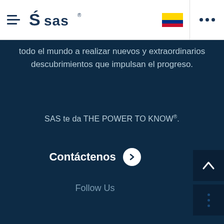SAS navigation bar with hamburger menu, SAS logo, Colombian flag, and three-dot menu
todo el mundo a realizar nuevos y extraordinarios descubrimientos que impulsan el progreso.
SAS te da THE POWER TO KNOW®.
Contáctenos
Follow Us